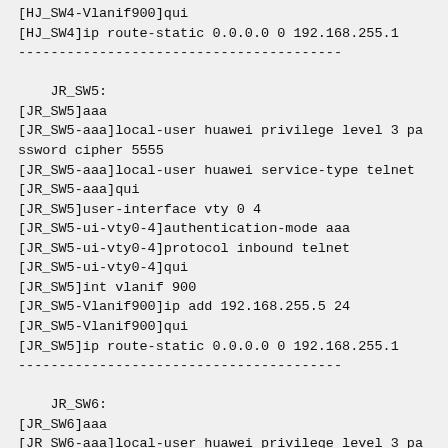[HJ_SW4-Vlanif900]qui
[HJ_SW4]ip route-static 0.0.0.0 0 192.168.255.1
----------------------------------------
JR_SW5:
[JR_SW5]aaa
[JR_SW5-aaa]local-user huawei privilege level 3 password cipher 5555
[JR_SW5-aaa]local-user huawei service-type telnet
[JR_SW5-aaa]qui
[JR_SW5]user-interface vty 0 4
[JR_SW5-ui-vty0-4]authentication-mode aaa
[JR_SW5-ui-vty0-4]protocol inbound telnet
[JR_SW5-ui-vty0-4]qui
[JR_SW5]int vlanif 900
[JR_SW5-Vlanif900]ip add 192.168.255.5 24
[JR_SW5-Vlanif900]qui
[JR_SW5]ip route-static 0.0.0.0 0 192.168.255.1
----------------------------------------
JR_SW6:
[JR_SW6]aaa
[JR_SW6-aaa]local-user huawei privilege level 3 password cipher 5555
[JR_SW6-aaa]local-user huawei service-type telnet